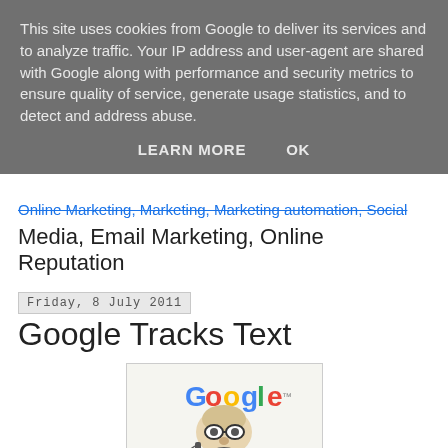This site uses cookies from Google to deliver its services and to analyze traffic. Your IP address and user-agent are shared with Google along with performance and security metrics to ensure quality of service, generate usage statistics, and to detect and address abuse.
LEARN MORE   OK
Online Marketing, Marketing, Marketing automation, Social Media, Email Marketing, Online Reputation
Friday, 8 July 2011
Google Tracks Text
[Figure (illustration): Cartoon caricature of a sinister-looking man wearing glasses with the Google logo text above him, illustrating surveillance theme.]
A fast and easy workaround to find out which web text Google 'reads', and which not. Simply click mail the content of a page from your main browser menu. Your standard mail client will open a window for you to send it. Click on 'send' and